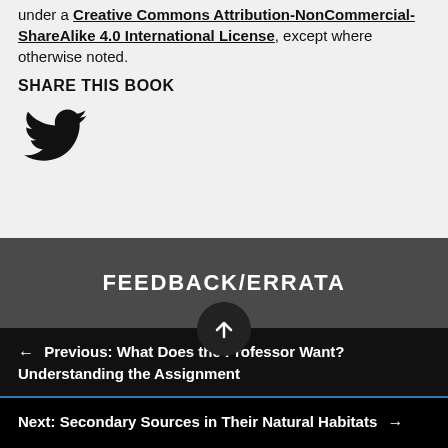under a Creative Commons Attribution-NonCommercial-ShareAlike 4.0 International License, except where otherwise noted.
SHARE THIS BOOK
[Figure (logo): Twitter bird icon in black]
FEEDBACK/ERRATA
← Previous: What Does the Professor Want? Understanding the Assignment
Next: Secondary Sources in Their Natural Habitats →